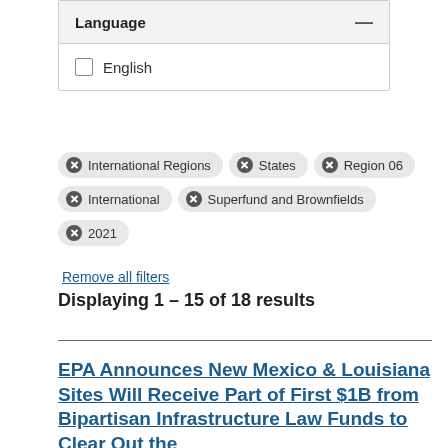Language
English
International Regions
States
Region 06
International
Superfund and Brownfields
2021
Remove all filters
Displaying 1 – 15 of 18 results
EPA Announces New Mexico & Louisiana Sites Will Receive Part of First $1B from Bipartisan Infrastructure Law Funds to Clear Out the